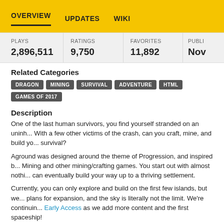OVERVIEW   UPDATES   WIKI
| PLAYS | RATINGS | FAVORITES | PUBLI... |
| --- | --- | --- | --- |
| 2,896,511 | 9,750 | 11,892 | Nov... |
Related Categories
DRAGON
MINING
SURVIVAL
ADVENTURE
HTML
GAMES OF 2017
Description
One of the last human survivors, you find yourself stranded on an uninh... With a few other victims of the crash, can you craft, mine, and build yo... survival?
Aground was designed around the theme of Progression, and inspired b... Mining and other mining/crafting games. You start out with almost nothi... can eventually build your way up to a thriving settlement.
Currently, you can only explore and build on the first few islands, but we... plans for expansion, and the sky is literally not the limit. We're continuin... Early Access as we add more content and the first spaceship!
We're planning to continue developing Aground based on feedback and... from players, so definitely send me a message or post in our subreddit...